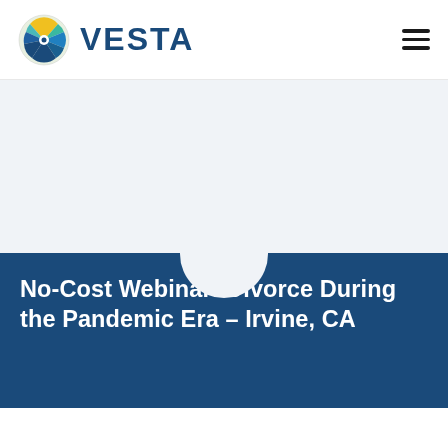VESTA
[Figure (logo): Vesta logo with circular emblem showing blue, green, teal and yellow fan/leaf design, alongside bold navy text VESTA]
No-Cost Webinar: Divorce During the Pandemic Era – Irvine, CA